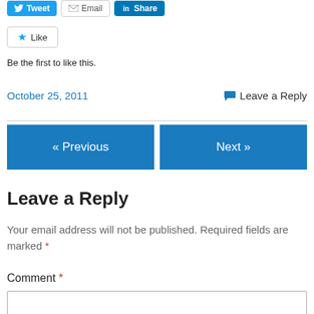[Figure (screenshot): Social share buttons: Tweet (blue Twitter button), Email (white button with email icon), Share (blue LinkedIn button)]
[Figure (screenshot): Like button with star icon]
Be the first to like this.
October 25, 2011   Leave a Reply
[Figure (screenshot): Navigation buttons: « Previous and Next »]
Leave a Reply
Your email address will not be published. Required fields are marked *
Comment *